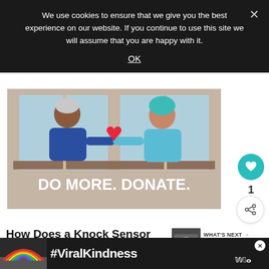We use cookies to ensure that we give you the best experience on our website. If you continue to use this site we will assume that you are happy with it.
OK
[Figure (illustration): Illustration of two people reaching toward each other through windows with a red heart between them, on a beige background. Text reads 'DO MORE. DONATE.']
1
How Does a Knock Sensor Work?
WHAT'S NEXT → 5 Things to Do Before Selli...
From the instant that you simply first begin yo... ...y
[Figure (illustration): Bottom advertisement banner showing a rainbow illustration and the hashtag #ViralKindness on a dark background.]